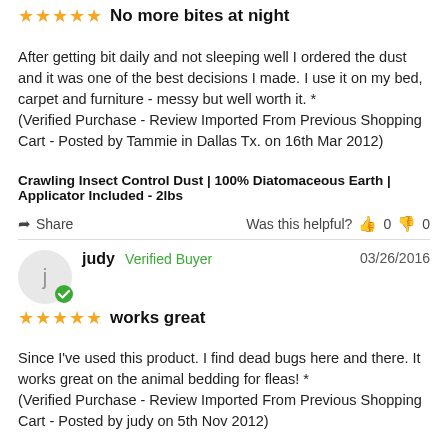No more bites at night
After getting bit daily and not sleeping well I ordered the dust and it was one of the best decisions I made. I use it on my bed, carpet and furniture - messy but well worth it. * (Verified Purchase - Review Imported From Previous Shopping Cart - Posted by Tammie in Dallas Tx. on 16th Mar 2012)
Crawling Insect Control Dust | 100% Diatomaceous Earth | Applicator Included - 2lbs
Share   Was this helpful? 0 0
judy  Verified Buyer  03/26/2016
works great
Since I've used this product. I find dead bugs here and there. It works great on the animal bedding for fleas! * (Verified Purchase - Review Imported From Previous Shopping Cart - Posted by judy on 5th Nov 2012)